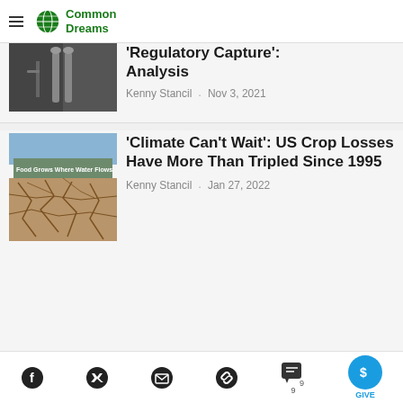Common Dreams
[Figure (screenshot): Partially visible article thumbnail - dark water tap image]
'Regulatory Capture': Analysis
Kenny Stancil · Nov 3, 2021
[Figure (photo): Cracked dry earth with sign reading 'Food Grows Where Water Flows']
'Climate Can't Wait': US Crop Losses Have More Than Tripled Since 1995
Kenny Stancil · Jan 27, 2022
Social sharing icons: Facebook, Twitter, Email, Link, Comments (9), Give